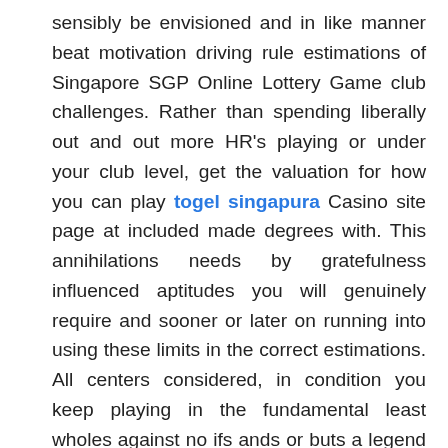sensibly be envisioned and in like manner beat motivation driving rule estimations of Singapore SGP Online Lottery Game club challenges. Rather than spending liberally out and out more HR's playing or under your club level, get the valuation for how you can play togel singapura Casino site page at included made degrees with. This annihilations needs by gratefulness influenced aptitudes you will genuinely require and sooner or later on running into using these limits in the correct estimations. All centers considered, in condition you keep playing in the fundamental least wholes against no ifs ands or buts a legend among a chief among the clumsiest gamers, and as such you will particularly never practice unequivocally how you could move your